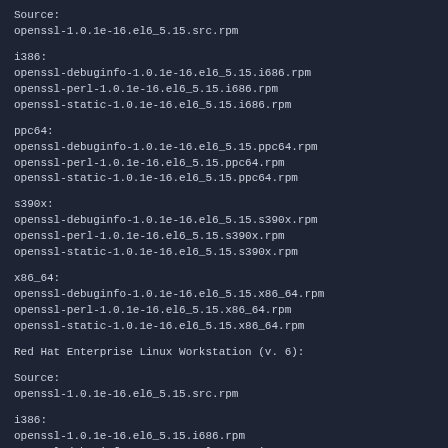Source:
openssl-1.0.1e-16.el6_5.15.src.rpm
i386:
openssl-debuginfo-1.0.1e-16.el6_5.15.i686.rpm
openssl-perl-1.0.1e-16.el6_5.15.i686.rpm
openssl-static-1.0.1e-16.el6_5.15.i686.rpm
ppc64:
openssl-debuginfo-1.0.1e-16.el6_5.15.ppc64.rpm
openssl-perl-1.0.1e-16.el6_5.15.ppc64.rpm
openssl-static-1.0.1e-16.el6_5.15.ppc64.rpm
s390x:
openssl-debuginfo-1.0.1e-16.el6_5.15.s390x.rpm
openssl-perl-1.0.1e-16.el6_5.15.s390x.rpm
openssl-static-1.0.1e-16.el6_5.15.s390x.rpm
x86_64:
openssl-debuginfo-1.0.1e-16.el6_5.15.x86_64.rpm
openssl-perl-1.0.1e-16.el6_5.15.x86_64.rpm
openssl-static-1.0.1e-16.el6_5.15.x86_64.rpm
Red Hat Enterprise Linux Workstation (v. 6):
Source:
openssl-1.0.1e-16.el6_5.15.src.rpm
i386:
openssl-1.0.1e-16.el6_5.15.i686.rpm
openssl-debuginfo-1.0.1e-16.el6_5.15.i686.rpm
openssl-devel-1.0.1e-16.el6_5.15.i686.rpm